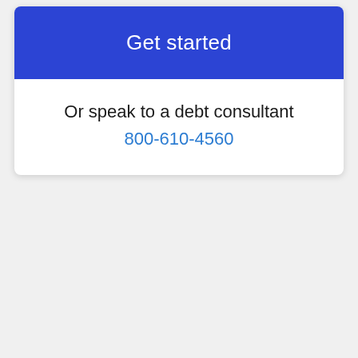Get started
Or speak to a debt consultant
800-610-4560